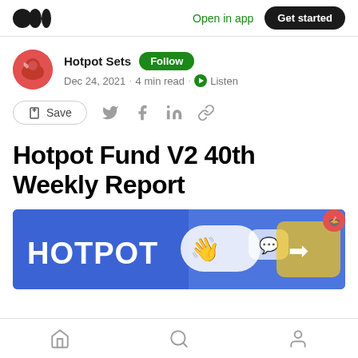Open in app · Get started
Hotpot Sets · Follow · Dec 24, 2021 · 4 min read · Listen
Save
Hotpot Fund V2 40th Weekly Report
[Figure (photo): Hotpot branded banner image with blue background showing 'HOTPOT' text and app interface icons]
Home · Search · Profile navigation icons